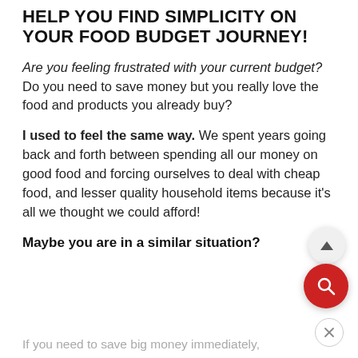HELP YOU FIND SIMPLICITY ON YOUR FOOD BUDGET JOURNEY!
Are you feeling frustrated with your current budget? Do you need to save money but you really love the food and products you already buy?
I used to feel the same way. We spent years going back and forth between spending all our money on good food and forcing ourselves to deal with cheap food, and lesser quality household items because it's all we thought we could afford!
Maybe you are in a similar situation?
If you need to save big money immediately,